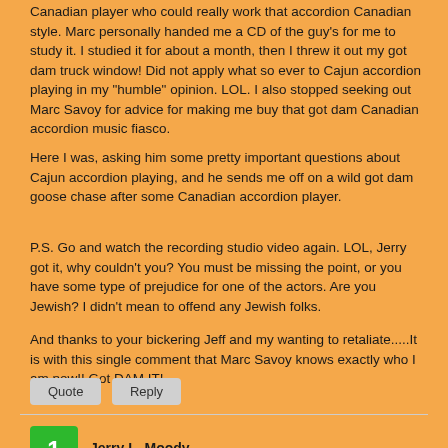Canadian player who could really work that accordion Canadian style. Marc personally handed me a CD of the guy's for me to study it. I studied it for about a month, then I threw it out my got dam truck window! Did not apply what so ever to Cajun accordion playing in my "humble" opinion. LOL. I also stopped seeking out Marc Savoy for advice for making me buy that got dam Canadian accordion music fiasco.
Here I was, asking him some pretty important questions about Cajun accordion playing, and he sends me off on a wild got dam goose chase after some Canadian accordion player.
P.S. Go and watch the recording studio video again. LOL, Jerry got it, why couldn't you? You must be missing the point, or you have some type of prejudice for one of the actors. Are you Jewish? I didn't mean to offend any Jewish folks.
And thanks to your bickering Jeff and my wanting to retaliate.....It is with this single comment that Marc Savoy knows exactly who I am now!! Got DAM IT!
Quote  Reply
1  Jerry L. Moody